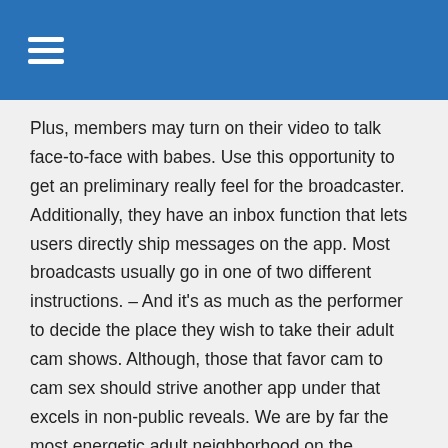Plus, members may turn on their video to talk face-to-face with babes. Use this opportunity to get an preliminary really feel for the broadcaster. Additionally, they have an inbox function that lets users directly ship messages on the app. Most broadcasts usually go in one of two different instructions. – And it's as much as the performer to decide the place they wish to take their adult cam shows. Although, those that favor cam to cam sex should strive another app under that excels in non-public reveals. We are by far the most energetic adult neighborhood on the internet.
Delta Eight Thc Close To Me: Shopping For D8 Merchandise Online Vs Domestically